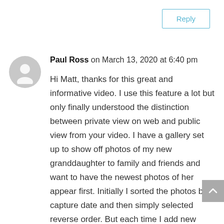Reply
Paul Ross on March 13, 2020 at 6:40 pm
Hi Matt, thanks for this great and informative video. I use this feature a lot but only finally understood the distinction between private view on web and public view from your video. I have a gallery set up to show off photos of my new granddaughter to family and friends and want to have the newest photos of her appear first. Initially I sorted the photos by capture date and then simply selected reverse order. But each time I add new photos